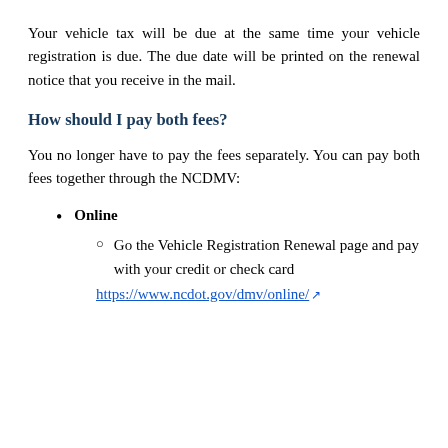Your vehicle tax will be due at the same time your vehicle registration is due. The due date will be printed on the renewal notice that you receive in the mail.
How should I pay both fees?
You no longer have to pay the fees separately. You can pay both fees together through the NCDMV:
Online
Go the Vehicle Registration Renewal page and pay with your credit or check card https://www.ncdot.gov/dmv/online/